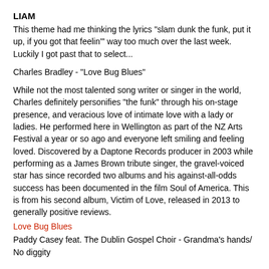LIAM
This theme had me thinking the lyrics "slam dunk the funk, put it up, if you got that feelin'" way too much over the last week. Luckily I got past that to select...
Charles Bradley - "Love Bug Blues"
While not the most talented song writer or singer in the world, Charles definitely personifies "the funk" through his on-stage presence, and veracious love of intimate love with a lady or ladies. He performed here in Wellington as part of the NZ Arts Festival a year or so ago and everyone left smiling and feeling loved. Discovered by a Daptone Records producer in 2003 while performing as a James Brown tribute singer, the gravel-voiced star has since recorded two albums and his against-all-odds success has been documented in the film Soul of America. This is from his second album, Victim of Love, released in 2013 to generally positive reviews.
Love Bug Blues
Paddy Casey feat. The Dublin Gospel Choir - Grandma's hands/ No diggity